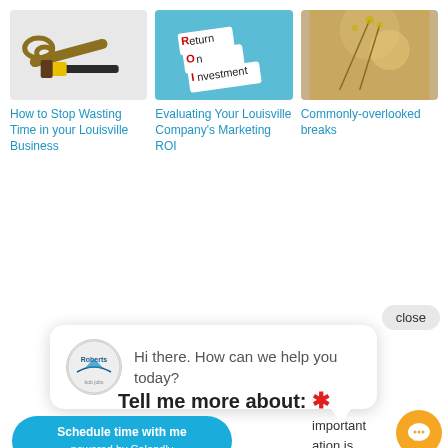[Figure (photo): Wrench and hammer tools on white background]
[Figure (photo): Return On Investment letter tiles on blue background]
[Figure (photo): Close-up of golden nature/plant bokeh background]
How to Stop Wasting Time in your Louisville Business
Evaluating Your Louisville Company's Marketing ROI
Commonly-overlooked breaks
close
[Figure (logo): Roberts company circular logo with sailboat]
Hi there. How can we help you today?
Tell me more about: *
Schedule time with me powered by Calendly
important ation is